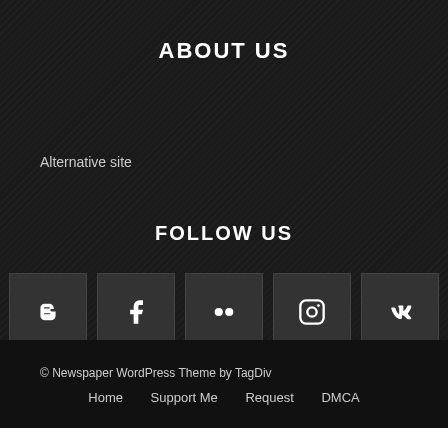ABOUT US
Alternative site
FOLLOW US
[Figure (infographic): Five social media icon buttons in dark squares: Blogger, Facebook, Flickr, Instagram, VK]
© Newspaper WordPress Theme by TagDiv
Home   Support Me   Request   DMCA